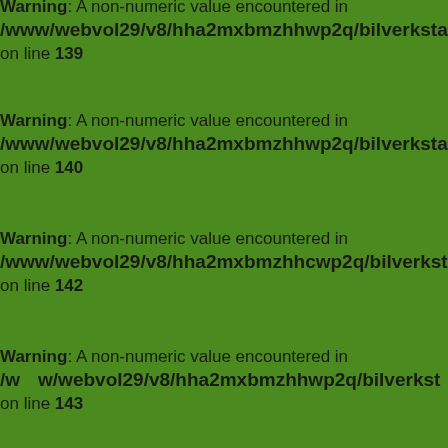Warning: A non-numeric value encountered in /www/webvol29/v8/hha2mxbmzhhwp2q/bilverkstad.t on line 139
Warning: A non-numeric value encountered in /www/webvol29/v8/hha2mxbmzhhwp2q/bilverkstad.t on line 140
Warning: A non-numeric value encountered in /www/webvol29/v8/hha2mxbmzhhwp2q/bilverkstad.t on line 142
Warning: A non-numeric value encountered in /www/webvol29/v8/hha2mxbmzhhwp2q/bilverkstad.t on line 143